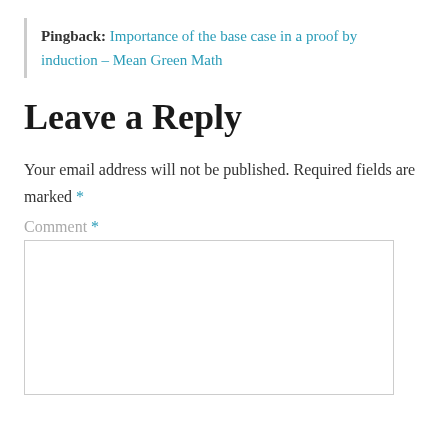Pingback: Importance of the base case in a proof by induction – Mean Green Math
Leave a Reply
Your email address will not be published. Required fields are marked *
Comment *
[Figure (other): Empty comment text area input box]